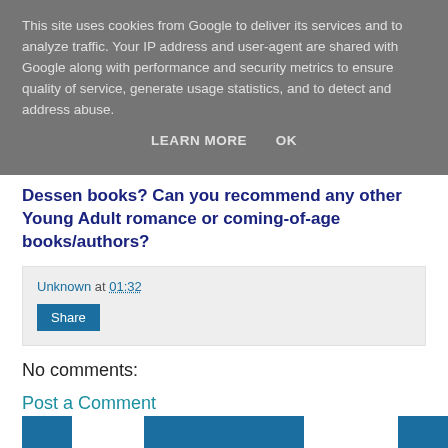This site uses cookies from Google to deliver its services and to analyze traffic. Your IP address and user-agent are shared with Google along with performance and security metrics to ensure quality of service, generate usage statistics, and to detect and address abuse.
LEARN MORE   OK
Dessen books? Can you recommend any other Young Adult romance or coming-of-age books/authors?
Unknown at 01:32
Share
No comments:
Post a Comment